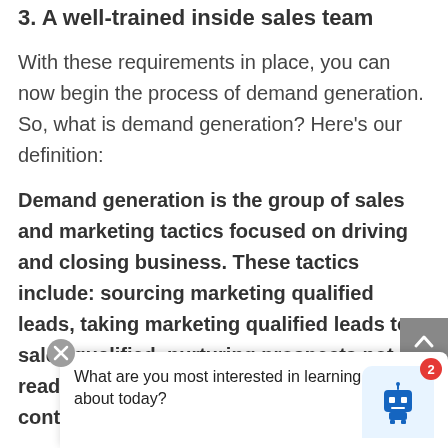3. A well-trained inside sales team
With these requirements in place, you can now begin the process of demand generation. So, what is demand generation? Here’s our definition:
Demand generation is the group of sales and marketing tactics focused on driving and closing business. These tactics include: sourcing marketing qualified leads, taking marketing qualified leads to sales qualified, nurturing prospects not ready to buy until they are, and creating content th...